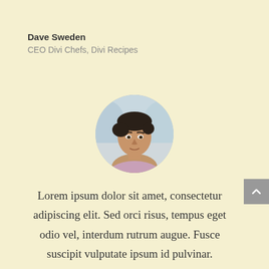Dave Sweden
CEO Divi Chefs, Divi Recipes
[Figure (photo): Circular portrait photo of a young Asian man with dark hair, wearing a pink/lavender top, with a blurred outdoor background]
Lorem ipsum dolor sit amet, consectetur adipiscing elit. Sed orci risus, tempus eget odio vel, interdum rutrum augue. Fusce suscipit vulputate ipsum id pulvinar.